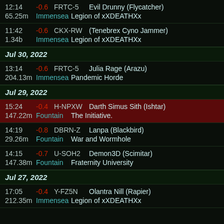12:14  -0.6  FRTC-5  Evil Drunny (Flycatcher) / 65.25m  Immensea  Legion of xXDEATHXx
11:42  -0.6  CKX-RW  (Tenebrex Cyno Jammer) / 1.34b  Immensea  Legion of xXDEATHXx
Jul 30, 2022
13:14  -0.6  FRTC-5  Julia Rage (Arazu) / 204.13m  Immensea  Pandemic Horde
Jul 29, 2022
15:24  -0.4  H-NPXW  Darth Simus Sith (Ishtar) / 147.22m  Fountain  The Initiative.
14:19  -0.8  DBRN-Z  Lanpa (Blackbird) / 29.26m  Fountain  War and Wormhole
14:15  -0.7  U-SOH2  Demon3D (Scimitar) / 147.38m  Fountain  Fraternity University
Jul 27, 2022
17:05  -0.4  Y-FZ5N  Olantra Nill (Rapier) / 212.35m  Immensea  Legion of xXDEATHXx